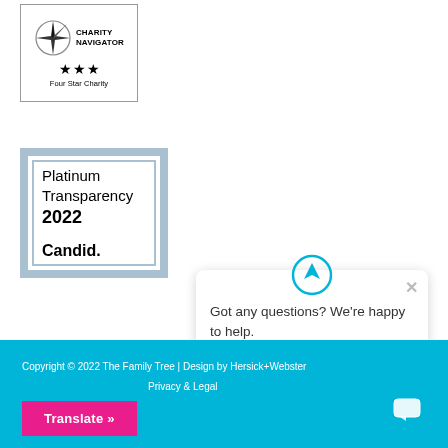[Figure (logo): Charity Navigator four star charity badge with compass star logo and three stars]
[Figure (logo): Candid Platinum Transparency 2022 badge with blue border]
[Figure (other): Chat popup with upward arrow circle icon and text 'Got any questions? We're happy to help.' with close X button]
Copyright © 2022 The Family Tree | Design by Hersick+Webster
Privacy & Legal
Translate »